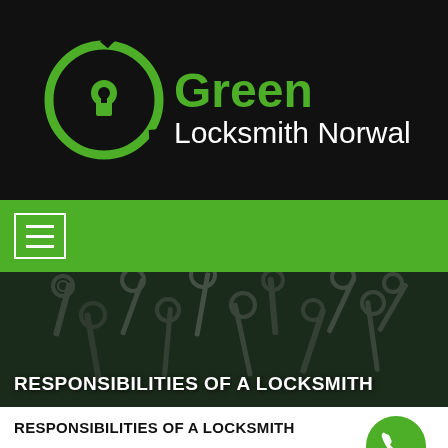[Figure (logo): Green Locksmith Norwalk logo: circular 'G' in green with keyhole, next to text 'Green' in green bold and 'Locksmith Norwalk' in white, on black background]
[Figure (other): Green navigation bar with hamburger menu icon in white outlined box]
[Figure (photo): Dark blurred photo of multiple keys on a keyring, used as hero banner background]
RESPONSIBILITIES OF A LOCKSMITH
RESPONSIBILITIES OF A LOCKSMITH
[Figure (other): Green circular phone/call button in bottom right corner]